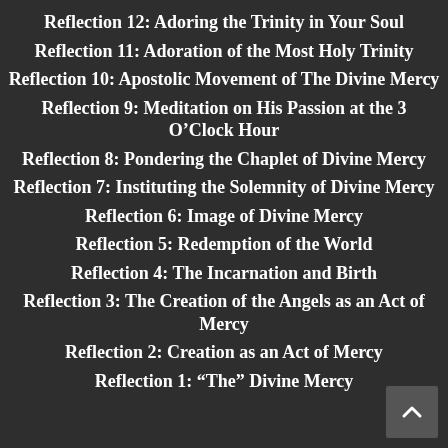Reflection 12: Adoring the Trinity in Your Soul
Reflection 11: Adoration of the Most Holy Trinity
Reflection 10: Apostolic Movement of The Divine Mercy
Reflection 9: Meditation on His Passion at the 3 O’Clock Hour
Reflection 8: Pondering the Chaplet of Divine Mercy
Reflection 7: Instituting the Solemnity of Divine Mercy
Reflection 6: Image of Divine Mercy
Reflection 5: Redemption of the World
Reflection 4: The Incarnation and Birth
Reflection 3: The Creation of the Angels as an Act of Mercy
Reflection 2: Creation as an Act of Mercy
Reflection 1: “The” Divine Mercy